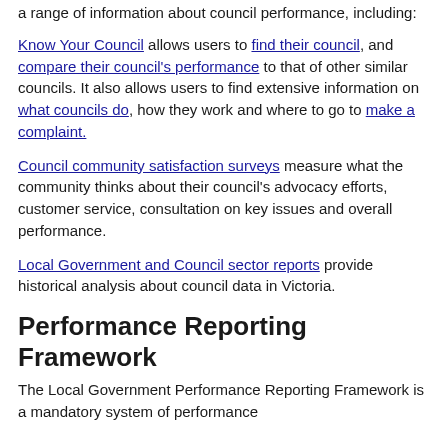a range of information about council performance, including:
Know Your Council allows users to find their council, and compare their council's performance to that of other similar councils. It also allows users to find extensive information on what councils do, how they work and where to go to make a complaint.
Council community satisfaction surveys measure what the community thinks about their council's advocacy efforts, customer service, consultation on key issues and overall performance.
Local Government and Council sector reports provide historical analysis about council data in Victoria.
Performance Reporting Framework
The Local Government Performance Reporting Framework is a mandatory system of performance